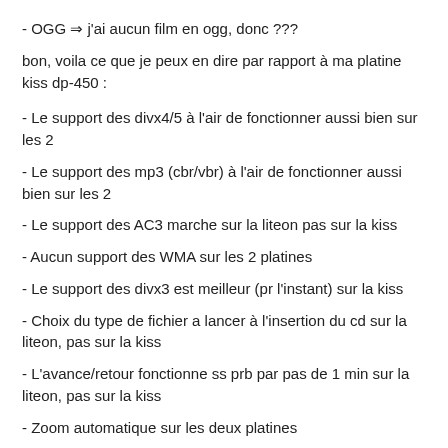- OGG ⇒ j'ai aucun film en ogg, donc ???
bon, voila ce que je peux en dire par rapport à ma platine kiss dp-450 :
- Le support des divx4/5 à l'air de fonctionner aussi bien sur les 2
- Le support des mp3 (cbr/vbr) à l'air de fonctionner aussi bien sur les 2
- Le support des AC3 marche sur la liteon pas sur la kiss
- Aucun support des WMA sur les 2 platines
- Le support des divx3 est meilleur (pr l'instant) sur la kiss
- Choix du type de fichier a lancer à l'insertion du cd sur la liteon, pas sur la kiss
- L'avance/retour fonctionne ss prb par pas de 1 min sur la liteon, pas sur la kiss
- Zoom automatique sur les deux platines